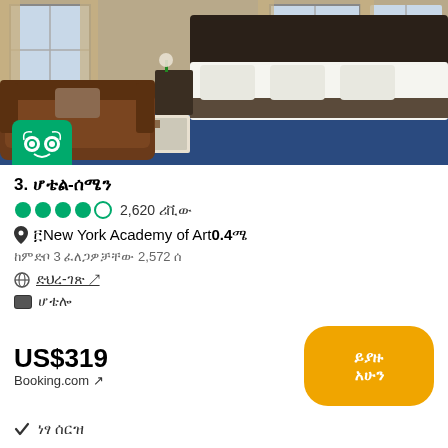[Figure (photo): Hotel room photo showing a stylish bedroom with blue carpet, large bed with white linens, brown leather sofa, and large windows. TripAdvisor 2022 Travelers' Choice badge overlaid bottom-left.]
3. ሆቴል-ሰሜን
●●●●○ 2,620 ሪቪው
📍 ፊNew York Academy of Art0.4ሜ
ከ3 ምድቦች ፈለጋ 2,572 ሰ
🌐 ድህረ-ገጽ ↗
🏷 ሆቴሎ
US$319
Booking.com ↗
✓ ነፃ ሰርዝ
ከ ዩኤስ$ US$265 ከ17 ቦታዎ